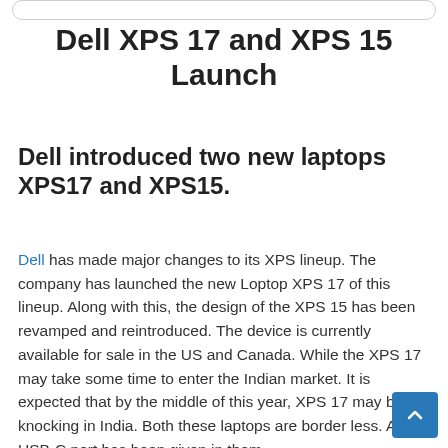Dell XPS 17 and XPS 15 Launch
Dell introduced two new laptops XPS17 and XPS15.
Dell has made major changes to its XPS lineup. The company has launched the new Loptop XPS 17 of this lineup. Along with this, the design of the XPS 15 has been revamped and reintroduced. The device is currently available for sale in the US and Canada. While the XPS 17 may take some time to enter the Indian market. It is expected that by the middle of this year, XPS 17 may be knocking in India. Both these laptops are border less. Also, USB-C port has been given in them.